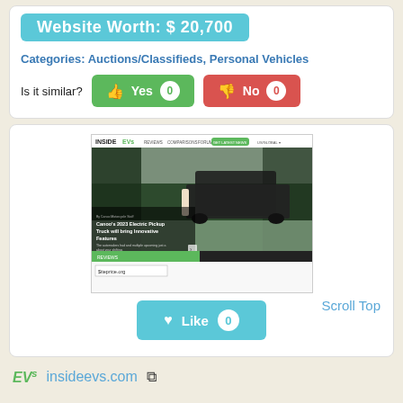Website Worth: $ 20,700
Categories: Auctions/Classifieds, Personal Vehicles
Is it similar?  Yes 0  No 0
[Figure (screenshot): Screenshot of insideevs.com website showing electric pickup truck article titled 'Canoo's 2023 Electric Pickup Truck will bring Innovative Features' with a dark SUV/truck on snowy road. Navigation bar at top with INSIDEEVS logo, REVIEWS, COMPARISONS, FORUM links. Green REVIEWS bar visible. $iteprice.org watermark at bottom.]
Scroll Top
Like 0
EVs  insideevs.com